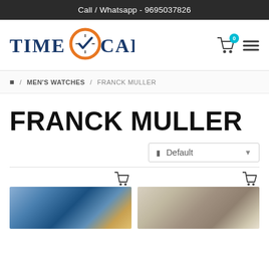Call / Whatsapp - 9695037826
[Figure (logo): TimeCart logo with orange circle clock and blue checkmark, text reads TIME CART]
☐ / MEN'S WATCHES / FRANCK MULLER
FRANCK MULLER
☐ Default ▼
[Figure (photo): Franck Muller watch product image 1 - blue dial rectangular watch]
[Figure (photo): Franck Muller watch product image 2 - white dial rectangular watch]